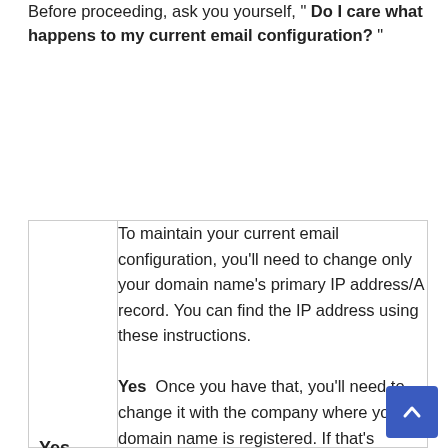Before proceeding, ask you yourself, " Do I care what happens to my current email configuration? "
|  |  |
| --- | --- |
|  | To maintain your current email configuration, you'll need to change only your domain name's primary IP address/A record. You can find the IP address using these instructions. |
| Yes | Once you have that, you'll need to change it with the company where your domain name is registered. If that's through us, you can use our DNS manager (Manage DNS records). |